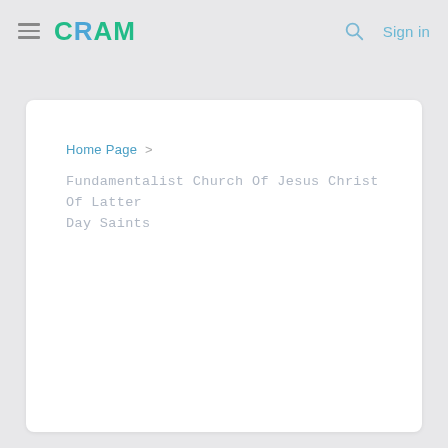CRAM  Sign in
Home Page > Fundamentalist Church Of Jesus Christ Of Latter Day Saints